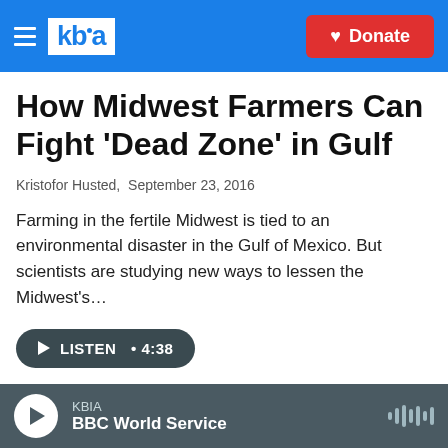KBIA — Donate
How Midwest Farmers Can Fight 'Dead Zone' in Gulf
Kristofor Husted,  September 23, 2016
Farming in the fertile Midwest is tied to an environmental disaster in the Gulf of Mexico. But scientists are studying new ways to lessen the Midwest's…
LISTEN • 4:38
[Figure (photo): Outdoor photograph of a person with back of head visible against a cloudy sky and treeline in background]
KBIA
BBC World Service